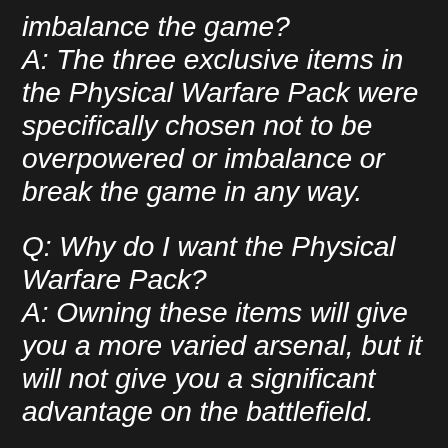imbalance the game? A: The three exclusive items in the Physical Warfare Pack were specifically chosen not to be overpowered or imbalance or break the game in any way.
Q: Why do I want the Physical Warfare Pack? A: Owning these items will give you a more varied arsenal, but it will not give you a significant advantage on the battlefield.